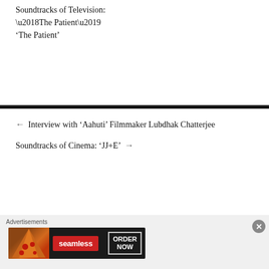Soundtracks of Television:
‘The Patient’
← Interview with ‘Aahuti’ Filmmaker Lubdhak Chatterjee
Soundtracks of Cinema: ‘JJ+E’ →
[Figure (other): Black background section]
Advertisements
[Figure (other): Seamless food delivery advertisement banner with pizza image, red Seamless logo, and ORDER NOW button]